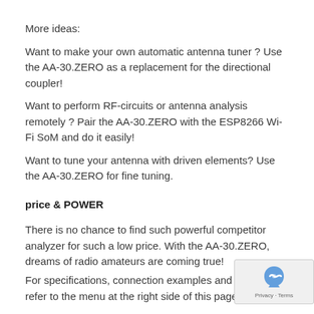More ideas:
Want to make your own automatic antenna tuner ? Use the AA-30.ZERO as a replacement for the directional coupler!
Want to perform RF-circuits or antenna analysis remotely ? Pair the AA-30.ZERO with the ESP8266 Wi-Fi SoM and do it easily!
Want to tune your antenna with driven elements? Use the AA-30.ZERO for fine tuning.
price & POWER
There is no chance to find such powerful competitor analyzer for such a low price. With the AA-30.ZERO, dreams of radio amateurs are coming true!
For specifications, connection examples and software, ple refer to the menu at the right side of this page.